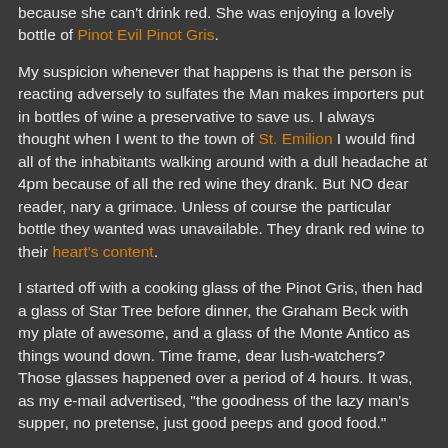because she can't drink red. She was enjoying a lovely bottle of Pinot Evil Pinot Gris.
My suspicion whenever that happens is that the person is reacting adversely to sulfates the Man makes importers put in bottles of wine a preservative to save us. I always thought when I went to the town of St. Emilion I would find all of the inhabitants walking around with a dull headache at 4pm because of all the red wine they drank. But NO dear reader, nary a grimace. Unless of course the particular bottle they wanted was unavailable. They drank red wine to their heart's content.
I started off with a cooking glass of the Pinot Gris, then had a glass of Star Tree before dinner, the Graham Beck with my plate of awesome, and a glass of the Monte Antico as things wound down. Time frame, dear lush-watchers? Those glasses happened over a period of 4 hours. It was, as my e-mail advertised, "the goodness of the lazy man's supper, no pretense, just good peeps and good food."
Back at the ranch, I was frying sausages to brown them and then sauteing eggplant in olive oil to caramelize. I like the